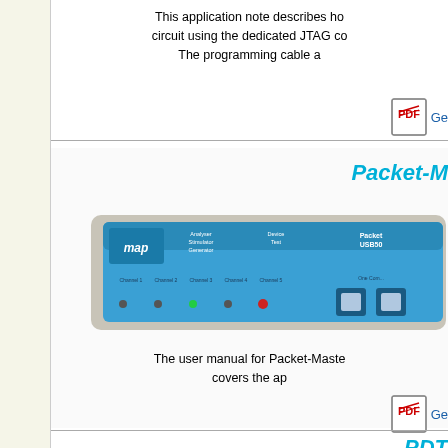This application note describes ho circuit using the dedicated JTAG co The programming cable a
[Figure (other): PDF icon with link starting with 'Ge']
Packet-M
[Figure (photo): Photo of a blue hardware device labeled 'map' - Packet-Master USB500 network analyzer/packet generator device]
The user manual for Packet-Maste covers the ap
[Figure (other): PDF icon with link starting with 'Ge']
PDT